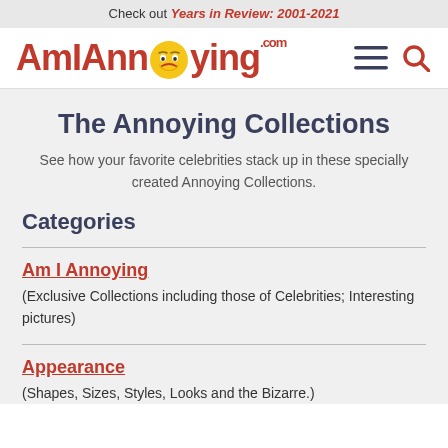Check out Years in Review: 2001-2021
[Figure (logo): AmIAnnoying.com logo with annoyed emoji face replacing the 'o', with hamburger menu and search icons on the right]
The Annoying Collections
See how your favorite celebrities stack up in these specially created Annoying Collections.
Categories
Am I Annoying
(Exclusive Collections including those of Celebrities; Interesting pictures)
Appearance
(Shapes, Sizes, Styles, Looks and the Bizarre.)